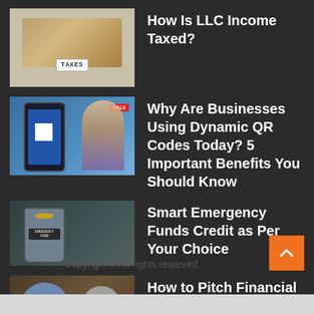How Is LLC Income Taxed?
Why Are Businesses Using Dynamic QR Codes Today? 5 Important Benefits You Should Know
Smart Emergency Funds Credit as Per Your Choice
How to Pitch Financial Contents to Journalists
Copyright © All rights reserved.